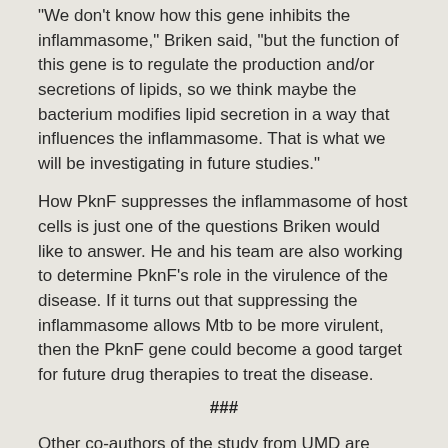“We don’t know how this gene inhibits the inflammasome,” Briken said, “but the function of this gene is to regulate the production and/or secretions of lipids, so we think maybe the bacterium modifies lipid secretion in a way that influences the inflammasome. That is what we will be investigating in future studies.”
How PknF suppresses the inflammasome of host cells is just one of the questions Briken would like to answer. He and his team are also working to determine PknF’s role in the virulence of the disease. If it turns out that suppressing the inflammasome allows Mtb to be more virulent, then the PknF gene could become a good target for future drug therapies to treat the disease.
###
Other co-authors of the study from UMD are postdoctoral associate Jacques Augenstreich and former graduate student Sarah Ellinwood (Ph.D. ‘17, biological sciences), now at Verge Scientific Communications.
The research paper, “Mycobacterium tuberculosis inhibits the NLRP3 inflammasome activation via its phosphokinase PknF,” Shivangi Rastogi, Sarah Ellinwood, Jacques Augenstreich, Katrin D. Mayer-Barber and Volker Briken, was published on July 29, 2021, in the scientific journal PLOS Pathogens.